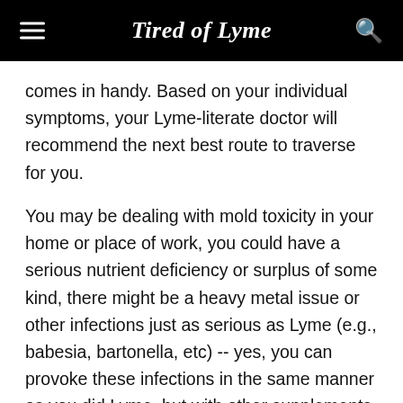Tired of Lyme
comes in handy. Based on your individual symptoms, your Lyme-literate doctor will recommend the next best route to traverse for you.
You may be dealing with mold toxicity in your home or place of work, you could have a serious nutrient deficiency or surplus of some kind, there might be a heavy metal issue or other infections just as serious as Lyme (e.g., babesia, bartonella, etc) -- yes, you can provoke these infections in the same manner as you did Lyme, but with other supplements -- or your breast implants may be leaking toxic silicone into your body. Of these roadblocks mentioned, you could have multiple or you could have one not even